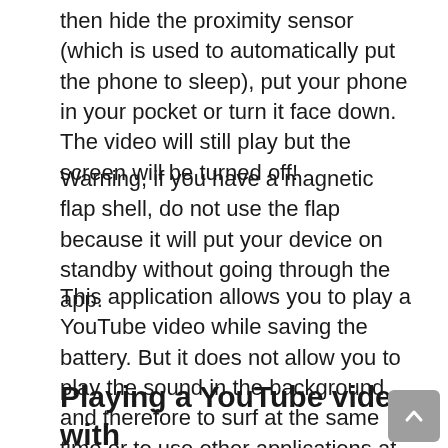then hide the proximity sensor (which is used to automatically put the phone to sleep), put your phone in your pocket or turn it face down. The video will still play but the screen will be turned off!
Warning, if you have a magnetic flap shell, do not use the flap because it will put your device on standby without going through the app.
This application allows you to play a YouTube video while saving the battery. But it does not allow you to play the sound in the background and therefore to surf at the same time or to use other applications at the same time.
Playing a YouTube video with the lock sScreen on iPhone or